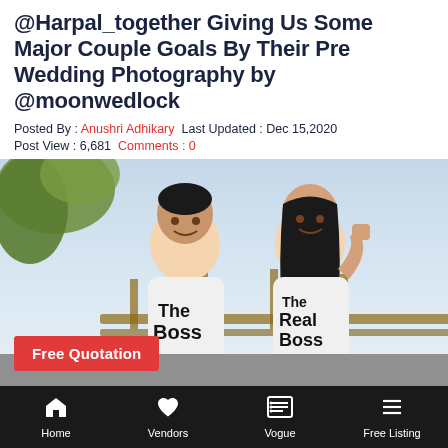@Harpal_together Giving Us Some Major Couple Goals By Their Pre Wedding Photography by @moonwedlock
Posted By : Anushri Adhikary  Last Updated : Dec 15,2020
Post View : 6,681  Comments : 0
[Figure (photo): A couple in matching white t-shirts (man: 'The Boss', woman: 'The Real Boss') smiling at each other outdoors. A 'Free Quotation' red button overlay appears in the lower left of the photo.]
Home  Vendors  Vogue  Free Listing